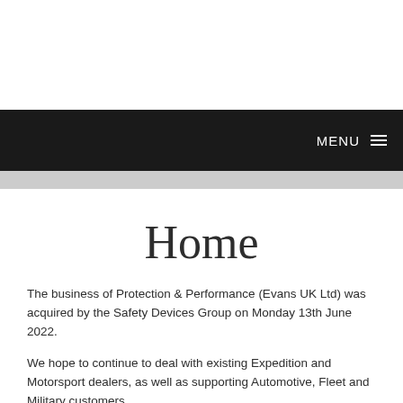MENU
Home
The business of Protection & Performance (Evans UK Ltd) was acquired by the Safety Devices Group on Monday 13th June 2022.
We hope to continue to deal with existing Expedition and Motorsport dealers, as well as supporting Automotive, Fleet and Military customers.